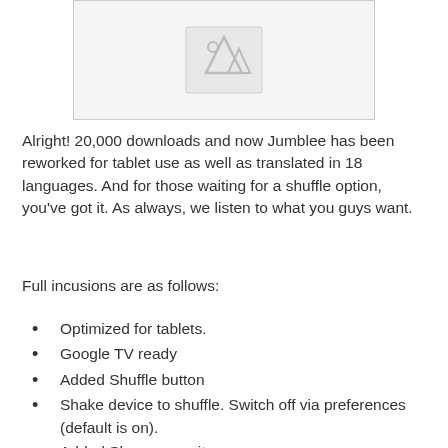[Figure (illustration): Placeholder image area with a mountain/image icon in gray on light gray background]
Alright! 20,000 downloads and now Jumblee has been reworked for tablet use as well as translated in 18 languages. And for those waiting for a shuffle option, you've got it. As always, we listen to what you guys want.
Full incusions are as follows:
Optimized for tablets.
Google TV ready
Added Shuffle button
Shake device to shuffle. Switch off via preferences (default is on).
Added Share menu item.
Weekly leaderboards.
Added translations for 18 languages (including Chinese).